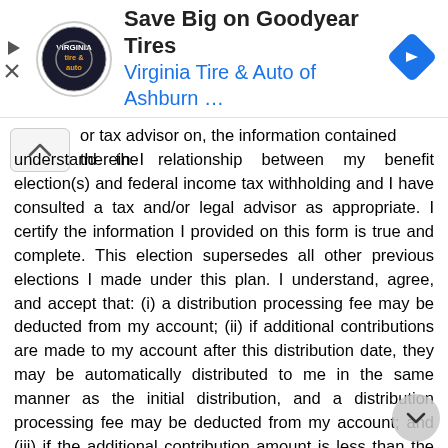[Figure (infographic): Advertisement banner for Virginia Tire & Auto of Ashburn featuring Goodyear Tires promotion with logo and navigation icon]
or tax advisor on, the information contained therein. I understand the relationship between my benefit election(s) and federal income tax withholding and I have consulted a tax and/or legal advisor as appropriate. I certify the information I provided on this form is true and complete. This election supersedes all other previous elections I made under this plan. I understand, agree, and accept that: (i) a distribution processing fee may be deducted from my account; (ii) if additional contributions are made to my account after this distribution date, they may be automatically distributed to me in the same manner as the initial distribution, and a distribution processing fee may be deducted from my account; and (iii) if the additional contribution amount is less than the fee charged, then no additional distribution will be processed. I understand that (1) federal tax law provides that a distribution cannot be made earlier than thirty (30) days or later than one hundred and eighty (180) days after I am